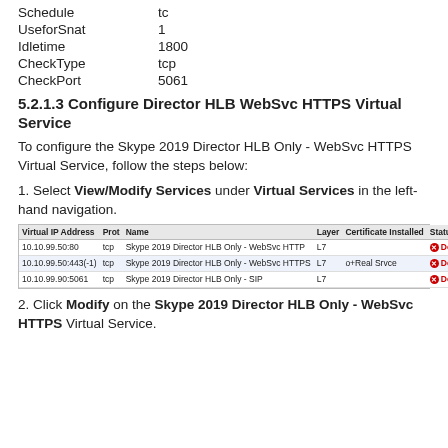| Schedule | tc |
| UseforSnat | 1 |
| Idletime | 1800 |
| CheckType | tcp |
| CheckPort | 5061 |
5.2.1.3 Configure Director HLB WebSvc HTTPS Virtual Service
To configure the Skype 2019 Director HLB Only - WebSvc HTTPS Virtual Service, follow the steps below:
1. Select View/Modify Services under Virtual Services in the left-hand navigation.
[Figure (screenshot): Table showing Virtual Services with columns: Virtual IP Address, Prot, Name, Layer, Certificate Installed, Status, Real Servers, Operation. Rows: 10.10.99.50:80 tcp Skype 2019 Director HLB Only - WebSvc HTTP L7 Down [Modify][Delete]; 10.10.99.50:443(-1) tcp Skype 2019 Director HLB Only - WebSvc HTTPS L7 o+Real Srvce Down [Modify][Delete]; 10.10.99.90:5061 tcp Skype 2019 Director HLB Only - SIP L7 Down [Modify][Delete]]
2. Click Modify on the Skype 2019 Director HLB Only - WebSvc HTTPS Virtual Service.